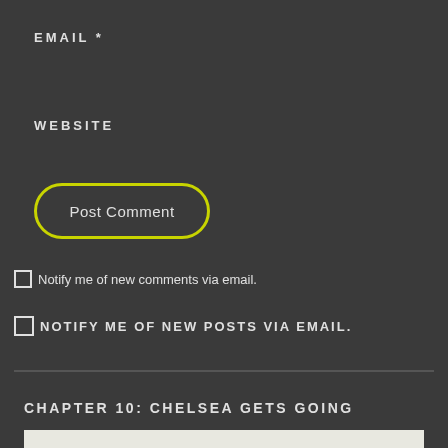EMAIL *
WEBSITE
[Figure (other): Post Comment button with yellow-green rounded border outline]
Notify me of new comments via email.
NOTIFY ME OF NEW POSTS VIA EMAIL.
CHAPTER 10: CHELSEA GETS GOING